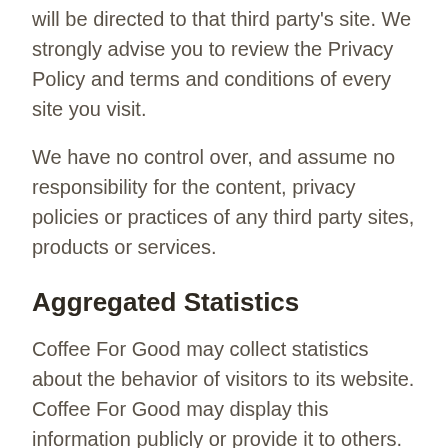will be directed to that third party's site. We strongly advise you to review the Privacy Policy and terms and conditions of every site you visit.
We have no control over, and assume no responsibility for the content, privacy policies or practices of any third party sites, products or services.
Aggregated Statistics
Coffee For Good may collect statistics about the behavior of visitors to its website. Coffee For Good may display this information publicly or provide it to others. However, Coffee For Good does not disclose your personally-identifying information.
Cookies